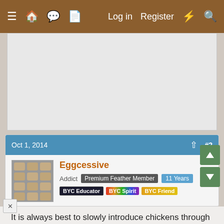≡ 🏠 💬 📄   Log in  Register  ⚡ 🔍
[Figure (screenshot): Advertisement placeholder area, light gray rectangle]
Oct 1, 2014   #2
Eggcessive
Addict  Premium Feather Member  11 Years
BYC Educator  BYC Spirit  BYC Friend
It is always best to slowly introduce chickens through fencing to separate the two groups while they see and smell each other for a week or two. If you coop is large enough you can block off the rear of it, and keep the two roosters inside 24/7 for a week. That will teach them to go in at night as well as introduce them slowly. I would spray some BluKote on the bloody feet to cover any red areas to